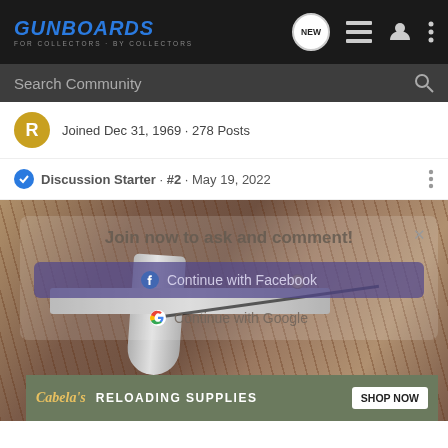GUNBOARDS - For Collectors By Collectors
Search Community
Joined Dec 31, 1969 · 278 Posts
Discussion Starter · #2 · May 19, 2022
[Figure (photo): Close-up photograph of rifle parts showing a bolt mechanism, wooden stock, and metal bands]
Join now to ask and comment!
Continue with Facebook
Continue with Google
or sign up with email
Cabela's RELOADING SUPPLIES SHOP NOW